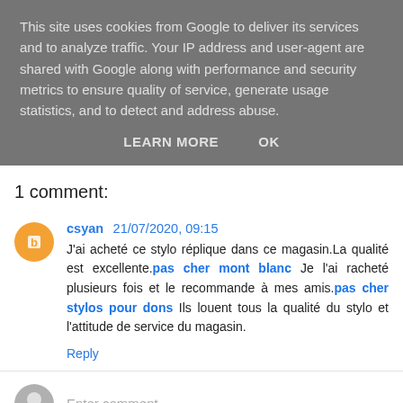This site uses cookies from Google to deliver its services and to analyze traffic. Your IP address and user-agent are shared with Google along with performance and security metrics to ensure quality of service, generate usage statistics, and to detect and address abuse.
LEARN MORE    OK
1 comment:
csyan 21/07/2020, 09:15
J'ai acheté ce stylo réplique dans ce magasin.La qualité est excellente.pas cher mont blanc Je l'ai racheté plusieurs fois et le recommande à mes amis.pas cher stylos pour dons Ils louent tous la qualité du stylo et l'attitude de service du magasin.
Reply
Enter comment